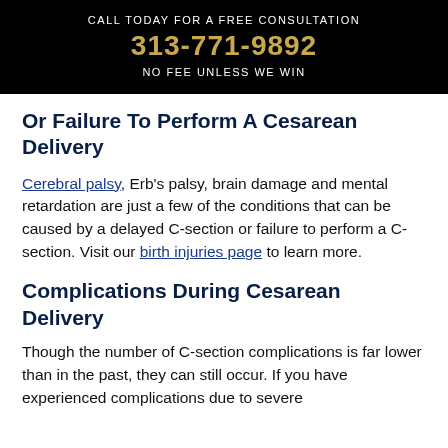CALL TODAY FOR A FREE CONSULTATION
313-771-9892
NO FEE UNLESS WE WIN
Or Failure To Perform A Cesarean Delivery
Cerebral palsy, Erb's palsy, brain damage and mental retardation are just a few of the conditions that can be caused by a delayed C-section or failure to perform a C-section. Visit our birth injuries page to learn more.
Complications During Cesarean Delivery
Though the number of C-section complications is far lower than in the past, they can still occur. If you have experienced complications due to severe